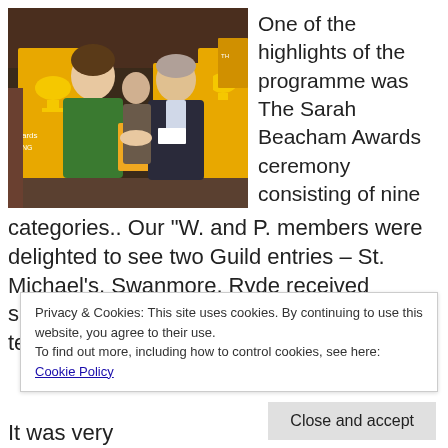[Figure (photo): Two men shaking hands and holding an orange/yellow certificate at an awards ceremony with yellow banners in the background. A woman stands between them slightly behind. Banners read 'ART A... PRIZE C...']
One of the highlights of the programme was The Sarah Beacham Awards ceremony consisting of nine categories.. Our “W. and P. members were delighted to see two Guild entries – St. Michael’s, Swanmore, Ryde received specific recognition from the Judges for teaching very young new
Privacy & Cookies: This site uses cookies. By continuing to use this website, you agree to their use.
To find out more, including how to control cookies, see here: Cookie Policy
Close and accept
It was very